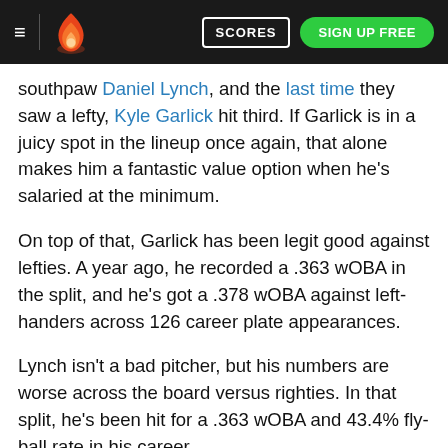≡  [logo]  SCORES  SIGN UP FREE
southpaw Daniel Lynch, and the last time they saw a lefty, Kyle Garlick hit third. If Garlick is in a juicy spot in the lineup once again, that alone makes him a fantastic value option when he's salaried at the minimum.
On top of that, Garlick has been legit good against lefties. A year ago, he recorded a .363 wOBA in the split, and he's got a .378 wOBA against left-handers across 126 career plate appearances.
Lynch isn't a bad pitcher, but his numbers are worse across the board versus righties. In that split, he's been hit for a .363 wOBA and 43.4% fly-ball rate in his career.
Our algorithm projects Garlick for 10.8 FanDuel points and rates him as the second-best point-per-